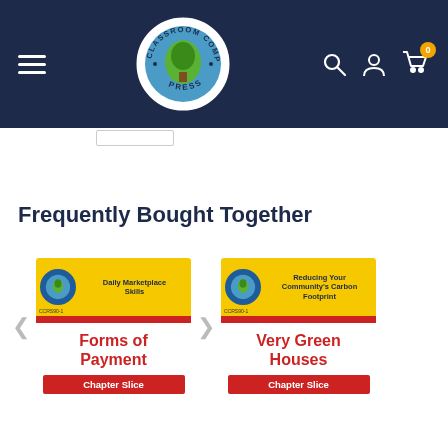[Figure (logo): Classroom Complete Press circular logo with green tree design on blue globe, dark navy background navigation bar with hamburger menu, search icon, user icon, and cart icon with badge '0']
Frequently Bought Together
[Figure (screenshot): Product card: Daily Marketplace Skills - Forms of Payment, yellow top banner with logo, red chapter slice label at bottom]
[Figure (screenshot): Product card: Reducing Your Community's Carbon Footprint - Very Green Houses, yellow top banner with logo, red chapter slice label at bottom]